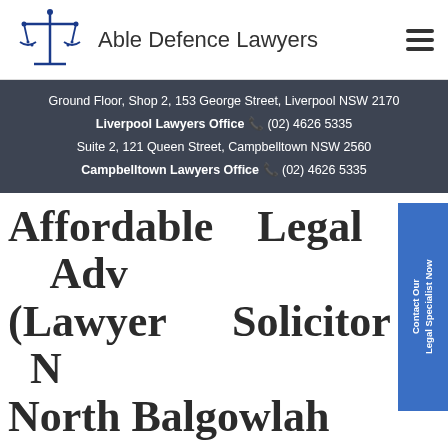Able Defence Lawyers
Ground Floor, Shop 2, 153 George Street, Liverpool NSW 2170
Liverpool Lawyers Office (02) 4626 5335
Suite 2, 121 Queen Street, Campbelltown NSW 2560
Campbelltown Lawyers Office (02) 4626 5335
Affordable Legal Advice (Lawyer Solicitor Near Me) North Balgowlah NSW 2093 In Sydney's Northern Beaches
Dealing with a legal matter can be very stressful, given that